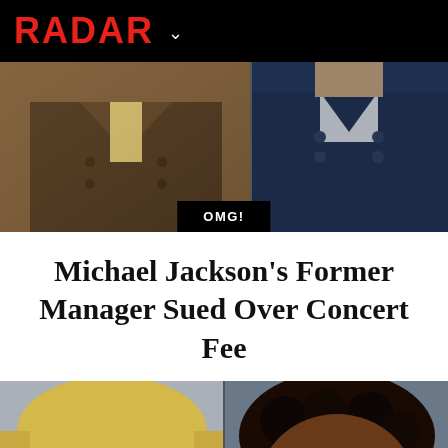RADAR
[Figure (photo): Two cropped photos side by side: left shows a person in a brown double-breasted suit, right shows a person in a dark blue jacket with white shirt underneath]
OMG!
Michael Jackson's Former Manager Sued Over Concert Fee
[Figure (photo): Two cropped face photos side by side: left shows a blonde woman with dark sunglasses and open mouth, right shows an elderly Black woman with gold-rimmed glasses]